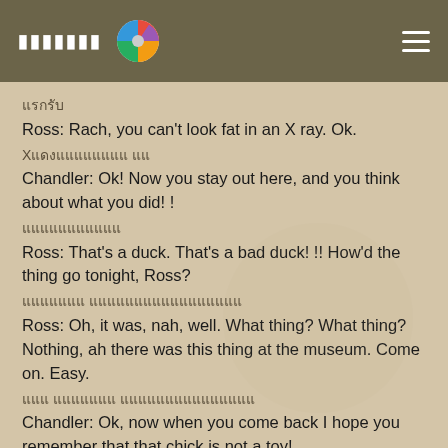Ross: Rach, you can't look fat in an X ray. Ok.
X กลูแอนนนน นน
Chandler: Ok! Now you stay out here, and you think about what you did! !
แอแแแแแแแแแแ
Ross: That's a duck. That's a bad duck! !! How'd the thing go tonight, Ross?
แแแแแแแ แแแแแแแแแแแแแแแแแ
Ross: Oh, it was, nah, well. What thing? What thing? Nothing, ah there was this thing at the museum. Come on. Easy.
แแแ แแแแแแแ แแแแแแแแแแแแแแแ
Chandler: Ok, now when you come back I hope you remember that that chick is not a toy!
แแแแแแแแแแแแแแ
Rachel: What thing? What is this thing?
แแแแแแแแแแ
Ross: Uh, I was kinda, supposed to be on TV tonight for The